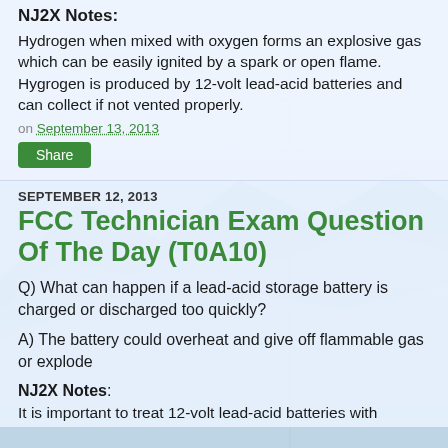NJ2X Notes:
Hydrogen when mixed with oxygen forms an explosive gas which can be easily ignited by a spark or open flame. Hygrogen is produced by 12-volt lead-acid batteries and can collect if not vented properly.
on September 13, 2013
Share
SEPTEMBER 12, 2013
FCC Technician Exam Question Of The Day (T0A10)
Q) What can happen if a lead-acid storage battery is charged or discharged too quickly?
A) The battery could overheat and give off flammable gas or explode
NJ2X Notes:
It is important to treat 12-volt lead-acid batteries with